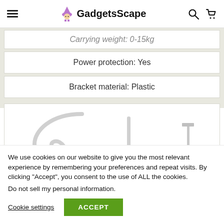GadgetsScape
| Carrying weight: 0-15kg |
| Power protection: Yes |
| Bracket material: Plastic |
[Figure (photo): Product image showing white plastic bracket components including a curved hook piece and straight rod/nail pieces on white background]
We use cookies on our website to give you the most relevant experience by remembering your preferences and repeat visits. By clicking “Accept”, you consent to the use of ALL the cookies.
Do not sell my personal information.